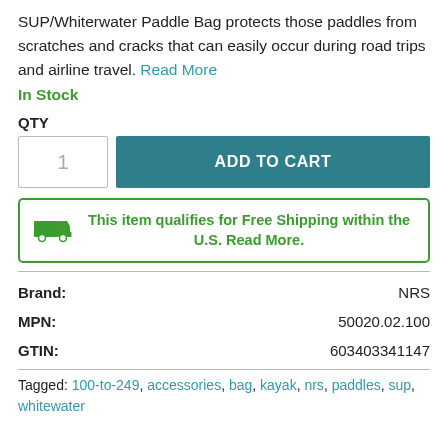SUP/Whiterwater Paddle Bag protects those paddles from scratches and cracks that can easily occur during road trips and airline travel. Read More
In Stock
QTY
1  ADD TO CART
This item qualifies for Free Shipping within the U.S. Read More.
| Label | Value |
| --- | --- |
| Brand: | NRS |
| MPN: | 50020.02.100 |
| GTIN: | 603403341147 |
Tagged: 100-to-249, accessories, bag, kayak, nrs, paddles, sup, whitewater